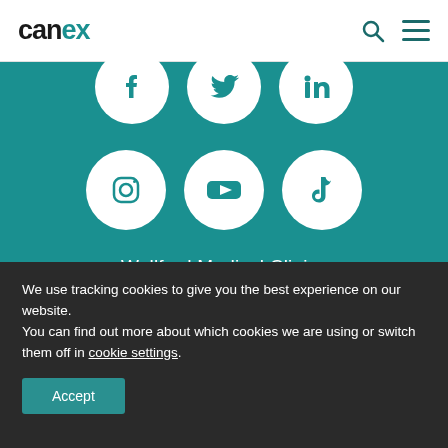[Figure (logo): Canex logo in teal/dark text in the top left of the header]
[Figure (infographic): Social media icons (Facebook, Twitter, LinkedIn partially visible in top row; Instagram, YouTube, TikTok in second row) as white circles on teal background]
Wellford Medical Clinics
We use tracking cookies to give you the best experience on our website.
You can find out more about which cookies we are using or switch them off in cookie settings.
Accept